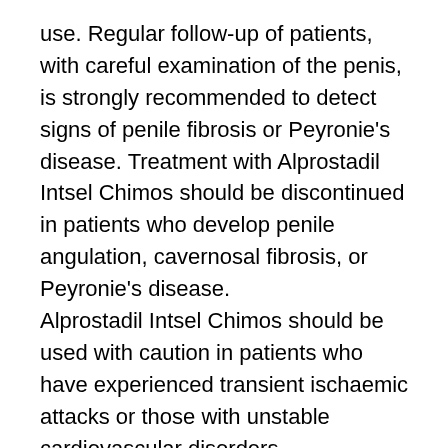use. Regular follow-up of patients, with careful examination of the penis, is strongly recommended to detect signs of penile fibrosis or Peyronie's disease. Treatment with Alprostadil Intsel Chimos should be discontinued in patients who develop penile angulation, cavernosal fibrosis, or Peyronie's disease.
Alprostadil Intsel Chimos should be used with caution in patients who have experienced transient ischaemic attacks or those with unstable cardiovascular disorders.
Alprostadil Intsel Chimos is not intended for co-administration with any other agent for the treatment of erectile dysfunction (see also 4.5).
The potential for abuse of Alprostadil Intsel Chimos should be considered in patients with a